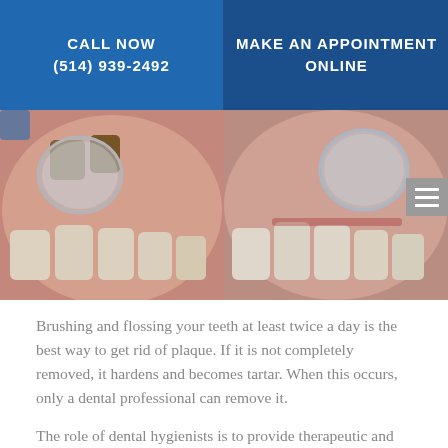CALL NOW
(514) 939-2492
MAKE AN APPOINTMENT ONLINE
[Figure (photo): Two side-by-side dental photos showing teeth with plaque/tartar build-up being examined with a dental mirror]
Brushing and flossing your teeth at least twice a day is the best way to get rid of plaque. If it is not completely removed, it hardens and becomes tartar. When this occurs, only a dental professional can remove it.
The role of dental hygienists is to provide therapeutic and preventive care aimed at ensuring optimal oral health. This includes detection, assessment, planning, and prevention to ensure good oral health habits.
After a thorough oral examination, the dental hygienist